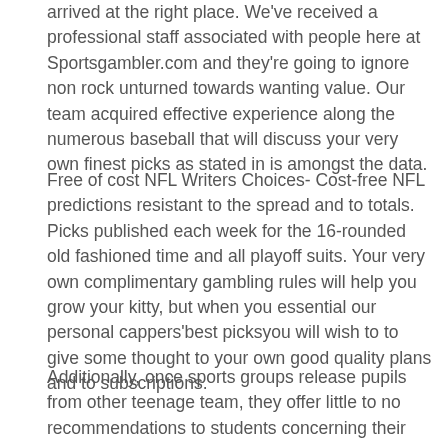arrived at the right place. We've received a professional staff associated with people here at Sportsgambler.com and they're going to ignore non rock unturned towards wanting value. Our team acquired effective experience along the numerous baseball that will discuss your very own finest picks as stated in is amongst the data.
Free of cost NFL Writers Choices- Cost-free NFL predictions resistant to the spread and to totals. Picks published each week for the 16-rounded old fashioned time and all playoff suits. Your very own complimentary gambling rules will help you grow your kitty, but when you essential our personal cappers'best picksyou will wish to to give some thought to your own good quality plans and to subscriptions.
Additionally, once sports groups release pupils from other teenage team, they offer little to no recommendations to students concerning their